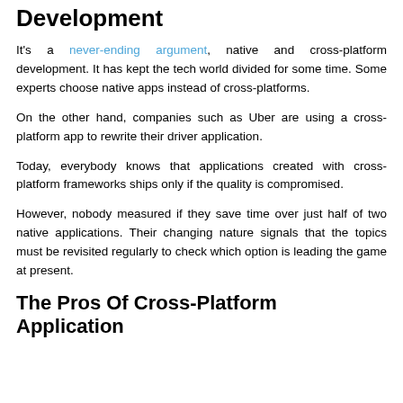Development
It's a never-ending argument, native and cross-platform development. It has kept the tech world divided for some time. Some experts choose native apps instead of cross-platforms.
On the other hand, companies such as Uber are using a cross-platform app to rewrite their driver application.
Today, everybody knows that applications created with cross-platform frameworks ships only if the quality is compromised.
However, nobody measured if they save time over just half of two native applications. Their changing nature signals that the topics must be revisited regularly to check which option is leading the game at present.
The Pros Of Cross-Platform Application